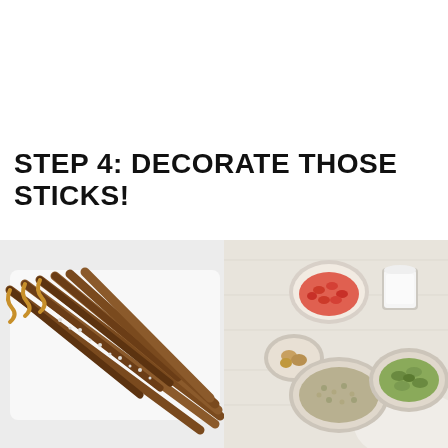STEP 4: DECORATE THOSE STICKS!
[Figure (photo): Chocolate-dipped pretzel sticks coated with nuts and sprinkles arranged on a white tray]
[Figure (photo): Overhead view of bowls containing toppings: goji berries (red), hemp seeds, pistachios (green), almonds, and a glass of milk on a white wooden surface]